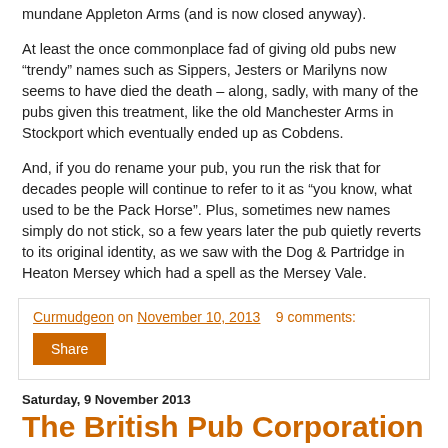mundane Appleton Arms (and is now closed anyway).
At least the once commonplace fad of giving old pubs new “trendy” names such as Sippers, Jesters or Marilyns now seems to have died the death – along, sadly, with many of the pubs given this treatment, like the old Manchester Arms in Stockport which eventually ended up as Cobdens.
And, if you do rename your pub, you run the risk that for decades people will continue to refer to it as “you know, what used to be the Pack Horse”. Plus, sometimes new names simply do not stick, so a few years later the pub quietly reverts to its original identity, as we saw with the Dog & Partridge in Heaton Mersey which had a spell as the Mersey Vale.
Curmudgeon on November 10, 2013   9 comments:
Share
Saturday, 9 November 2013
The British Pub Corporation